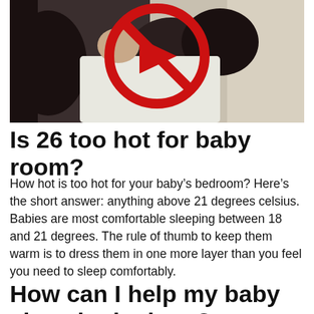[Figure (photo): Video thumbnail showing a person lying in bed, with a red no-play circle overlay (YouTube-style play button with a red prohibitory/no symbol over it).]
Is 26 too hot for baby room?
How hot is too hot for your baby’s bedroom? Here’s the short answer: anything above 21 degrees celsius. Babies are most comfortable sleeping between 18 and 21 degrees. The rule of thumb to keep them warm is to dress them in one more layer than you feel you need to sleep comfortably.
How can I help my baby sleep in the heat?